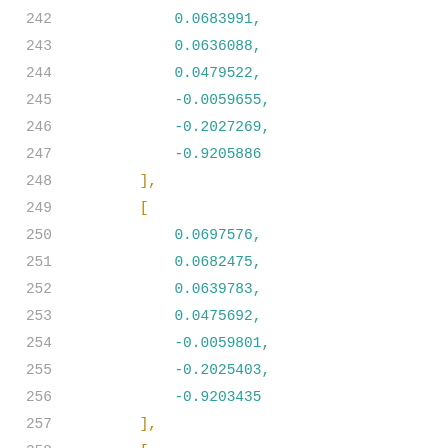242    0.0683991,
243    0.0636088,
244    0.0479522,
245    -0.0059655,
246    -0.2027269,
247    -0.9205886
248    ],
249    [
250    0.0697576,
251    0.0682475,
252    0.0639783,
253    0.0475692,
254    -0.0059801,
255    -0.2025403,
256    -0.9203435
257    ],
258    [
259    0.0693652,
260    0.067906,
261    0.0634271,
262    0.0466418,